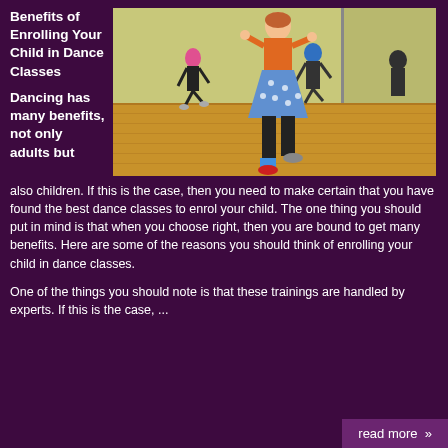Benefits of Enrolling Your Child in Dance Classes
[Figure (photo): Children and adults dancing in a dance studio with mirrored walls and wooden floor. A girl in an orange top and blue polka dot skirt is in the foreground.]
Dancing has many benefits, not only adults but also children. If this is the case, then you need to make certain that you have found the best dance classes to enrol your child. The one thing you should put in mind is that when you choose right, then you are bound to get many benefits. Here are some of the reasons you should think of enrolling your child in dance classes.
One of the things you should note is that these trainings are handled by experts. If this is the case, ...
read more »